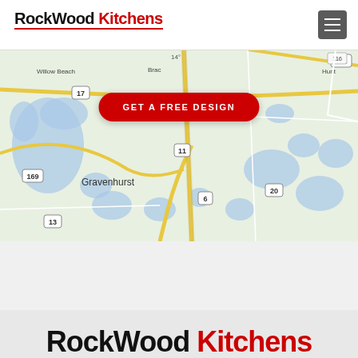[Figure (logo): RockWood Kitchens logo with red underline, top left of header]
[Figure (screenshot): Navigation hamburger menu icon, dark gray square with three white lines, top right of header]
GET A FREE DESIGN
[Figure (map): Google Maps screenshot showing Gravenhurst area in Ontario, Canada with road numbers 17, 11, 169, 6, 20, 13, 118 and blue lakes on green terrain]
[Figure (logo): RockWood Kitchens large logo partially visible at bottom of page, black RockWood and red Kitchens text]